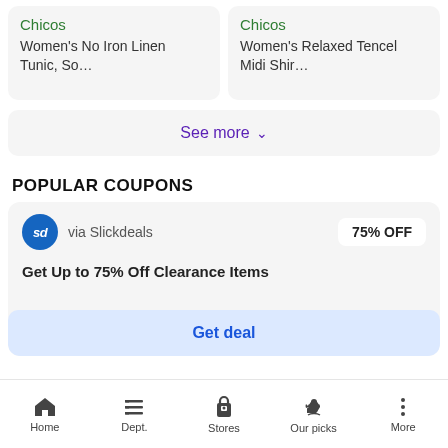Chicos / Women's No Iron Linen Tunic, So…
Chicos / Women's Relaxed Tencel Midi Shir…
See more
POPULAR COUPONS
via Slickdeals
75% OFF
Get Up to 75% Off Clearance Items
Get deal
Home  Dept.  Stores  Our picks  More